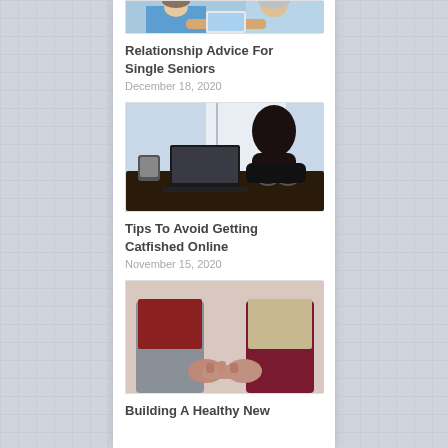[Figure (photo): Partial photo of two elderly people, cropped at top]
Relationship Advice For Single Seniors
December 18, 2020
[Figure (photo): Silhouette of person sitting at desk with head in hands, mug and glasses on desk, dark moody photo]
Tips To Avoid Getting Catfished Online
November 15, 2020
[Figure (photo): Two people holding hands from behind, one in grey pants and maroon top, other in beige top and maroon pants]
Building A Healthy New